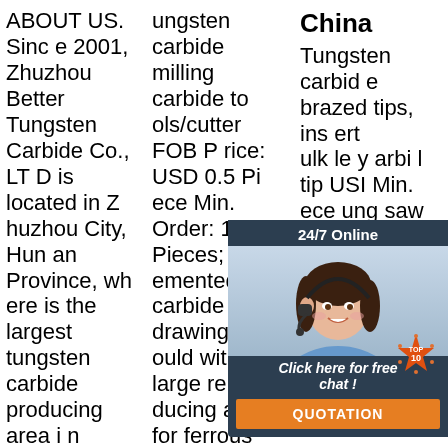ABOUT US. Since 2001, Zhuzhou Better Tungsten Carbide Co., LTD is located in Zhuzhou City, Hunan Province, where is the largest tungsten carbide producing area in China. After 20 years working, we became TOP 10 in Zhuzhou. Our company's series of products include tungsten c...
ungsten carbide milling carbide tools/cutter FOB Price: USD 0.5 Piece Min. Order: 10 Pieces; S11 cemented carbide deep drawing mould with large reducing angles for ferrous wires FOB Price: USD 48 Kilogram Min. Order: 3 Kilograms; Tungsten carbide wire pill punch press die FOB P...
China

Tungsten carbide brazed tips, insert bulk le yarbide tip USD...Min. Order: 50...ung saw tips FOB Price: USD 0.2 Piece Min. Order: 50 Pieces; zhu zhou tungsten carbide...
[Figure (screenshot): 24/7 Online chat widget with a photo of a woman with headset, 'Click here for free chat!' text, and an orange QUOTATION button]